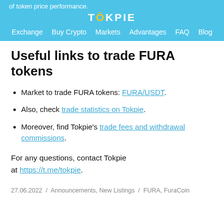of token price performance. TOKPIE | Exchange  Buy Crypto  Markets  Advantages  FAQ  Blog
Useful links to trade FURA tokens
Market to trade FURA tokens: FURA/USDT.
Also, check trade statistics on Tokpie.
Moreover, find Tokpie's trade fees and withdrawal commissions.
For any questions, contact Tokpie at https://t.me/tokpie.
27.06.2022 / Announcements, New Listings / FURA, FuraCoin